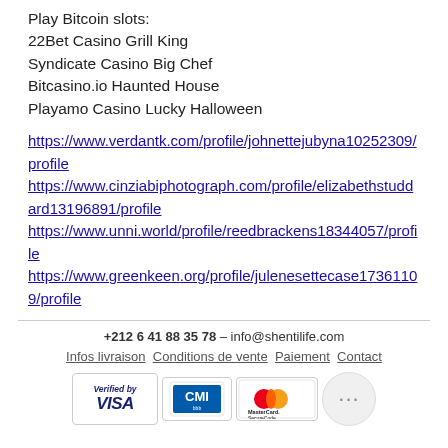Play Bitcoin slots:
22Bet Casino Grill King
Syndicate Casino Big Chef
Bitcasino.io Haunted House
Playamo Casino Lucky Halloween
https://www.verdantk.com/profile/johnettejubyna10252309/profile
https://www.cinziabiphotograph.com/profile/elizabethstuddard13196891/profile
https://www.unni.world/profile/reedbrackens18344057/profile
https://www.greenkeen.org/profile/julenesettecase17361109/profile
+212 6 41 88 35 78 - info@shentilife.com
Infos livraison   Conditions de vente   Paiement   Contact